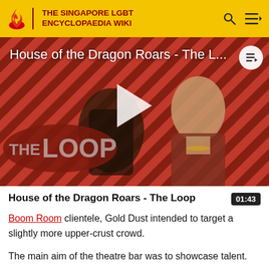THE SINGAPORE LGBT ENCYCLOPAEDIA WIKI
[Figure (screenshot): YouTube-style video thumbnail showing House of the Dragon Roars - The L... with two characters from the show on a diagonal striped red/black background, THE LOOP logo visible, white play button triangle, and a playlist icon in the top right corner.]
House of the Dragon Roars - The Loop
01:43
Boom Room clientele, Gold Dust intended to target a slightly more upper-crust crowd.
The main aim of the theatre bar was to showcase talent.